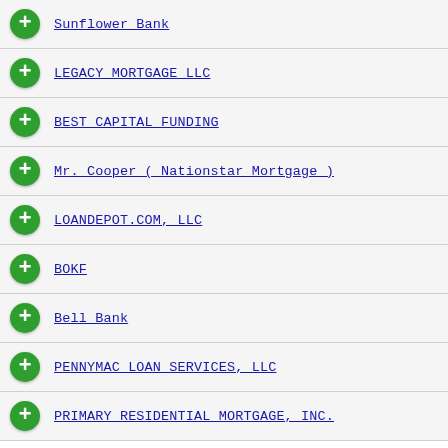Sunflower Bank
LEGACY MORTGAGE LLC
BEST CAPITAL FUNDING
Mr. Cooper ( Nationstar Mortgage )
LOANDEPOT.COM, LLC
BOKF
Bell Bank
PENNYMAC LOAN SERVICES, LLC
PRIMARY RESIDENTIAL MORTGAGE, INC.